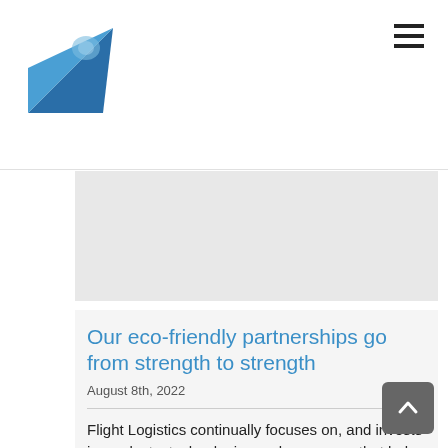[Figure (logo): Flight Logistics blue arrow/plane logo pointing upper-right]
[Figure (other): Hamburger/menu icon (three horizontal lines) in top right corner]
[Figure (photo): Gray placeholder image area below the header]
Our eco-friendly partnerships go from strength to strength
August 8th, 2022
Flight Logistics continually focuses on, and invests in products, technologies and processes that help our company, our clients, and their Read More...